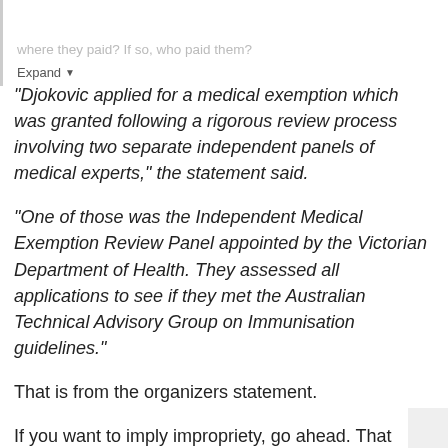where they paid? If so, who paid them?
Expand
"Djokovic applied for a medical exemption which was granted following a rigorous review process involving two separate independent panels of medical experts," the statement said.
"One of those was the Independent Medical Exemption Review Panel appointed by the Victorian Department of Health. They assessed all applications to see if they met the Australian Technical Advisory Group on Immunisation guidelines."
That is from the organizers statement.
If you want to imply impropriety, go ahead. That same line of thinking delegitimizes almost every aspect of the last two years.